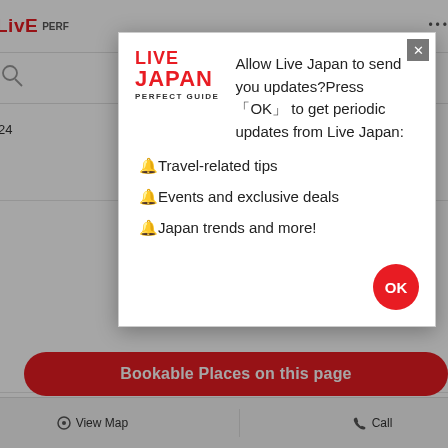[Figure (screenshot): Live Japan Perfect Guide website page showing a modal notification dialog over page content about Shibuya Station access, phone number, and navigation buttons.]
Allow Live Japan to send you updates?Press 「OK」 to get periodic updates from Live Japan:
🔔Travel-related tips
🔔Events and exclusive deals
🔔Japan trends and more!
Nearest Station
Access: 5-minute walk from Shibuya Station using either the JR lines, Tokyo Metro Ginza Line, Hanzomon Line, Fukutoshin Line, Tokyu Toyoko Line, Denentoshi Line, or Keio Inokashira Line.
Phone Number
03-3461-1281
Bookable Places on this page